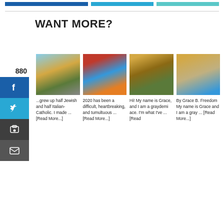[Figure (other): Three colored horizontal bars at top: dark blue, light blue, teal]
WANT MORE?
[Figure (photo): Photo of ruins with dome in background (Jerusalem scene)]
grew up half Jewish and half Italian-Catholic. I made ... [Read More...]
[Figure (photo): Photo of a woman in colorful traditional dress smiling]
2020 has been a difficult, heartbreaking, and tumultuous ... [Read More...]
[Figure (photo): Photo of a person standing in autumn forest]
Hi! My name is Grace, and I am a graydemiace. I'm what I've ... [Read
[Figure (photo): Photo of a smiling woman outdoors in a field]
By Grace B. Freedom My name is Grace and I am a gray ... [Read More...]